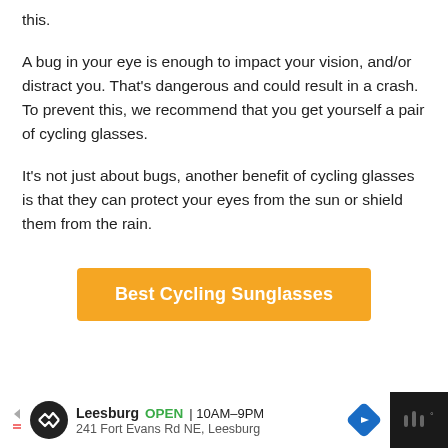this.
A bug in your eye is enough to impact your vision, and/or distract you. That's dangerous and could result in a crash. To prevent this, we recommend that you get yourself a pair of cycling glasses.
It's not just about bugs, another benefit of cycling glasses is that they can protect your eyes from the sun or shield them from the rain.
[Figure (other): Orange button labeled 'Best Cycling Sunglasses']
Leesburg OPEN 10AM–9PM 241 Fort Evans Rd NE, Leesburg